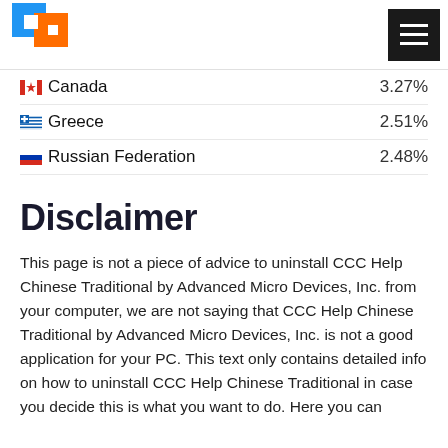[Logo and navigation menu]
Canada 3.27%
Greece 2.51%
Russian Federation 2.48%
Disclaimer
This page is not a piece of advice to uninstall CCC Help Chinese Traditional by Advanced Micro Devices, Inc. from your computer, we are not saying that CCC Help Chinese Traditional by Advanced Micro Devices, Inc. is not a good application for your PC. This text only contains detailed info on how to uninstall CCC Help Chinese Traditional in case you decide this is what you want to do. Here you can